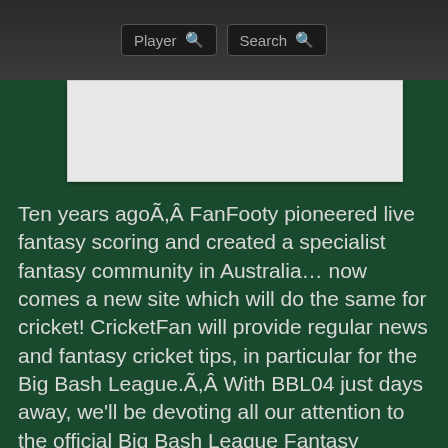Player Search
[Figure (other): Advertisement or image placeholder area with light grey background]
Ten years agoÃ,Â FanFooty pioneered live fantasy scoring and created a specialist fantasy community in Australia… now comes a new site which will do the same for cricket! CricketFan will provide regular news and fantasy cricket tips, in particular for the Big Bash League.Ã,Â With BBL04 just days away, we'll be devoting all our attention to the official Big Bash League Fantasy competition as well as Fox Sports' Fantasy 20/20 Cricket.
At the moment the site is just a blog, but when the BBL04 season starts on December 18 you will see live scoring for both major fantasy competitions (with a few test runs during the